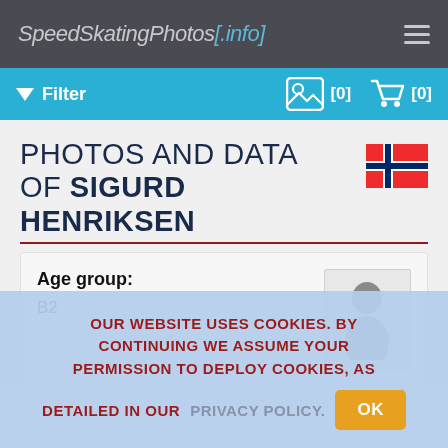SpeedSkatingPhotos[.info]
Filter [0] [0]
PHOTOS AND DATA OF SIGURD HENRIKSEN
Age group:
B2
OUR WEBSITE USES COOKIES. BY CONTINUING WE ASSUME YOUR PERMISSION TO DEPLOY COOKIES, AS DETAILED IN OUR PRIVACY POLICY. OK